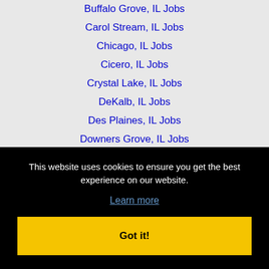Buffalo Grove, IL Jobs
Carol Stream, IL Jobs
Chicago, IL Jobs
Cicero, IL Jobs
Crystal Lake, IL Jobs
DeKalb, IL Jobs
Des Plaines, IL Jobs
Downers Grove, IL Jobs
Elgin, IL Jobs
Elmhurst, IL Jobs
This website uses cookies to ensure you get the best experience on our website.
Learn more
Got it!